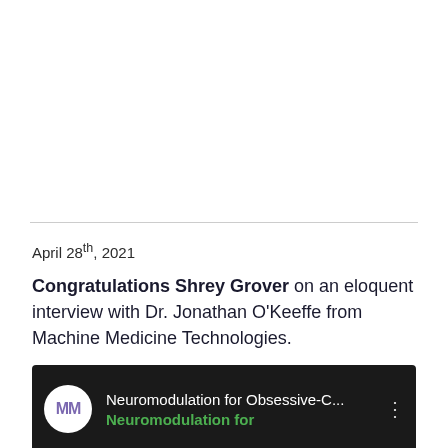April 28th, 2021
Congratulations Shrey Grover on an eloquent interview with Dr. Jonathan O'Keeffe from Machine Medicine Technologies.
[Figure (screenshot): Video thumbnail for 'Neuromodulation for Obsessive-C...' with Machine Medicine Technologies logo (MM circle) on dark background with green subtitle bar reading 'Neuromodulation for']